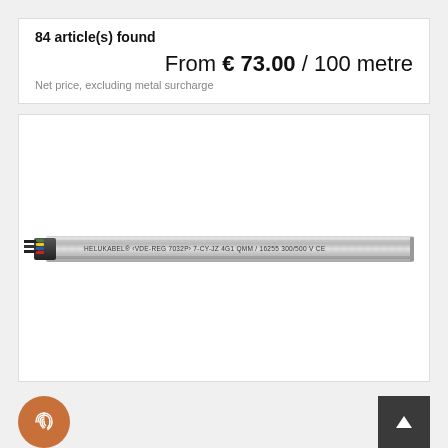84 article(s) found
From € 73.00 / 100 metre
Net price, excluding metal surcharge
[Figure (photo): A shielded HELUKABEL cable (VDE-REG 7032P, 7-CY-JZ, 4G1 QMM/16255, 300/500 V) shown horizontally with a braided metallic shield outer jacket and colored conductors visible at the left end.]